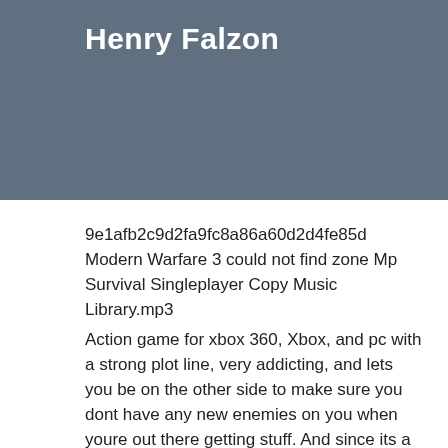Henry Falzon
9e1afb2c9d2fa9fc8a86a60d2d4fe85d
Modern Warfare 3 could not find zone Mp Survival Singleplayer Copy Music Library.mp3
Action game for xbox 360, Xbox, and pc with a strong plot line, very addicting, and lets you be on the other side to make sure you dont have any new enemies on you when youre out there getting stuff. And since its a military war, its different every time in how you have to do things.. Can't Find Zone Survival Cowsart.mp3
At the very beginning of the game your character, Grayson Hunt is floating in space. It may have moved, or it may have